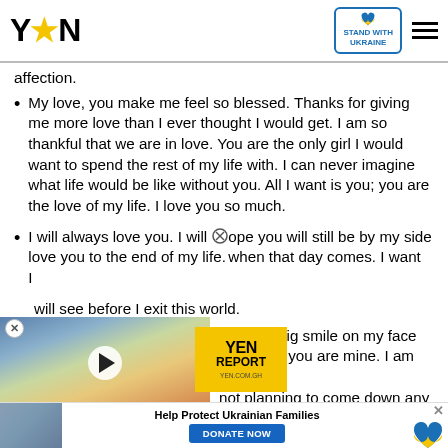YEN logo | STAND WITH UKRAINE badge | hamburger menu
affection.
My love, you make me feel so blessed. Thanks for giving me more love than I ever thought I would get. I am so thankful that we are in love. You are the only girl I would want to spend the rest of my life with. I can never imagine what life would be like without you. All I want is you; you are the love of my life. I love you so much.
I will always love you. I will love you to the end of my life. I hope you will still be by my side when that day comes. I want will see before I exit this world.
ou put a big smile on my face know that you are mine. I am on not planning to come down any e God to be such lucky in
[Figure (screenshot): YEN video ad overlay showing Accra Beautification Project with play button thumbnail and YEN Report badge]
[Figure (screenshot): Ukraine donation banner at bottom: Help Protect Ukrainian Families with DONATE NOW button and Ukraine heart logo]